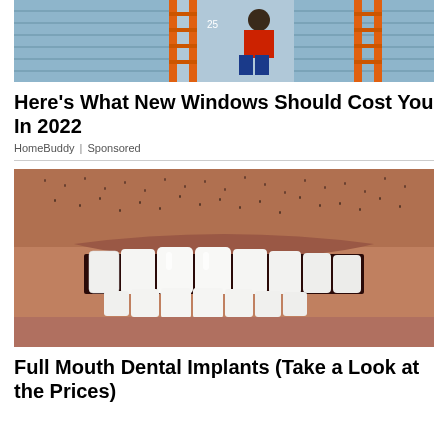[Figure (photo): Photo of people with an orange ladder near a house with blue siding]
Here's What New Windows Should Cost You In 2022
HomeBuddy | Sponsored
[Figure (photo): Close-up photo of a man's smile showing white dental implants/veneers with stubble visible]
Full Mouth Dental Implants (Take a Look at the Prices)